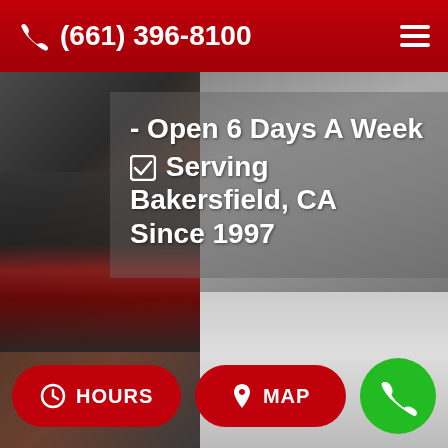(661) 396-8100
[Figure (photo): Background photo showing a parking area with a red car on the left side and a garage/building wall on the right side, with a semi-transparent gray overlay containing text.]
- Open 6 Days A Week ☑ Serving Bakersfield, CA Since 1997
HOURS
MAP